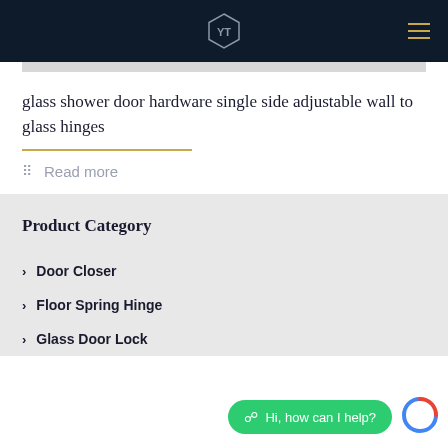YT logo and navigation
glass shower door hardware single side adjustable wall to glass hinges
Read more
Product Category
Door Closer
Floor Spring Hinge
Glass Door Lock
Hi, how can I help?